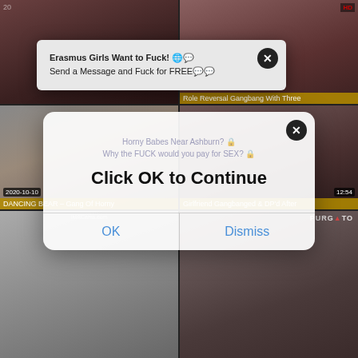[Figure (screenshot): Adult video thumbnail grid with two popup/modal overlays. Top-left cell shows a woman with dark hair. Top-right cell shows label 'Role Reversal Gangbang With Three'. Middle-left shows a blonde woman, labeled 'DANCING BEAR - Gang Of Horny', date 2020-10-10. Middle-right shows a woman, labeled 'Girlfriend Gangbanged & DP’d After', time 12:54. Bottom-left shows a dark-haired woman on a bed with IMACams.com watermark. Bottom-right shows people with PURGATO watermark. Popup 1: gray modal with bold text 'Erasmus Girls Want to Fuck! Send a Message and Fuck for FREE'. Popup 2: white iOS-style modal with faded text 'Horny Babes Near Ashburn? Why the FUCK would you pay for SEX?' and large bold text 'Click OK to Continue' with OK and Dismiss buttons.]